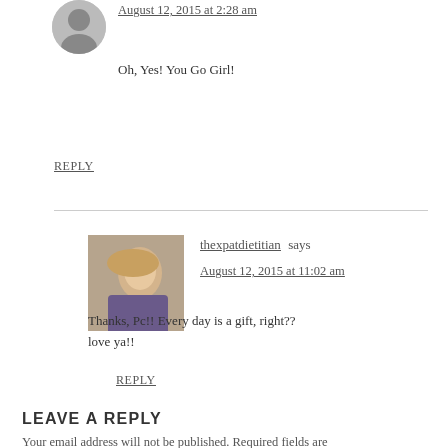August 12, 2015 at 2:28 am
Oh, Yes! You Go Girl!
REPLY
thexpatdietitian says
August 12, 2015 at 11:02 am
Thanks, Pc!! Every day is a gift, right?? love ya!!
REPLY
LEAVE A REPLY
Your email address will not be published. Required fields are